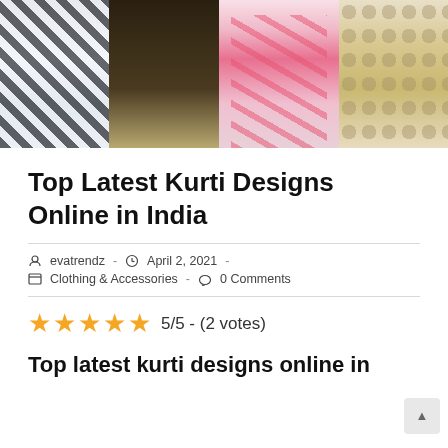[Figure (photo): Four women modeling Indian fashion: leftmost in black-and-white checkered outfit with ripped jeans, second in dark floral long kurta, third in pink and red striped saree, fourth in cream floral embroidered kurti]
Top Latest Kurti Designs Online in India
evatrendz  -  April 2, 2021  -  Clothing & Accessories  -  0 Comments
5/5 - (2 votes)
Top latest kurti designs online in